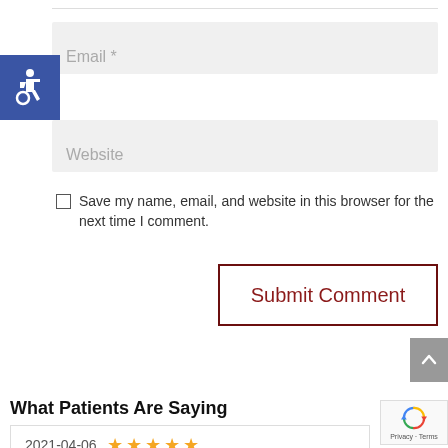[Figure (illustration): Blue accessibility/wheelchair icon badge on the left side]
Email *
Website
Save my name, email, and website in this browser for the next time I comment.
Submit Comment
What Patients Are Saying
2021-04-06 ★★★★★
[Figure (logo): reCAPTCHA logo badge with Privacy and Terms links]